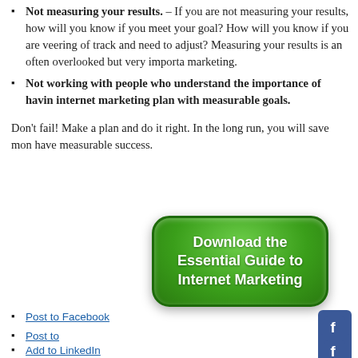Not measuring your results. – If you are not measuring your results, how will you know if you meet your goal? How will you know if you are veering off track and need to adjust? Measuring your results is an often overlooked but very important part of internet marketing.
Not working with people who understand the importance of having an internet marketing plan with measurable goals.
Don't fail! Make a plan and do it right. In the long run, you will save money and have measurable success.
[Figure (illustration): Green rounded rectangle button with white bold text reading 'Download the Essential Guide to Internet Marketing']
Post to Facebook
Post to
Add to LinkedIn